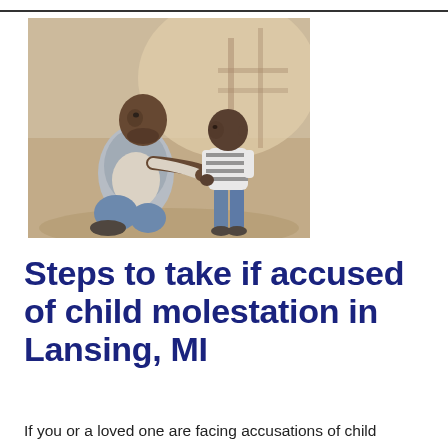[Figure (photo): An adult Black man crouching down to speak with a young Black child in a striped shirt, outdoors in a warm-toned setting.]
Steps to take if accused of child molestation in Lansing, MI
If you or a loved one are facing accusations of child